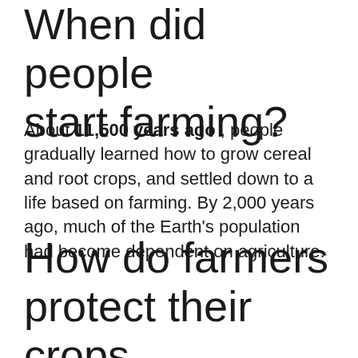When did people start farming?
About 11,500 years ago , people gradually learned how to grow cereal and root crops, and settled down to a life based on farming. By 2,000 years ago, much of the Earth's population had become dependent on agriculture.
How do farmers protect their crops from pests?